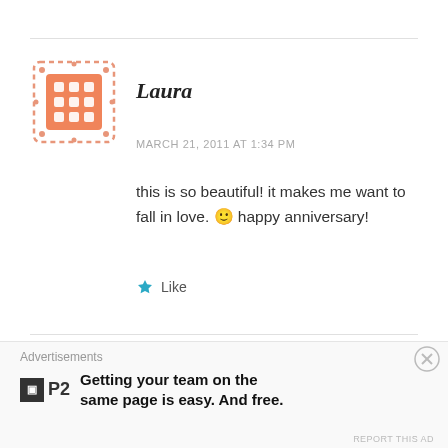[Figure (illustration): Laura avatar: salmon/coral colored square icon with diamond/dot pattern, dashed border]
Laura
MARCH 21, 2011 AT 1:34 PM
this is so beautiful! it makes me want to fall in love. 🙂 happy anniversary!
Like
[Figure (photo): Amanda avatar: circular photo of a woman with reddish-brown hair]
Amanda
Advertisements
Getting your team on the same page is easy. And free.